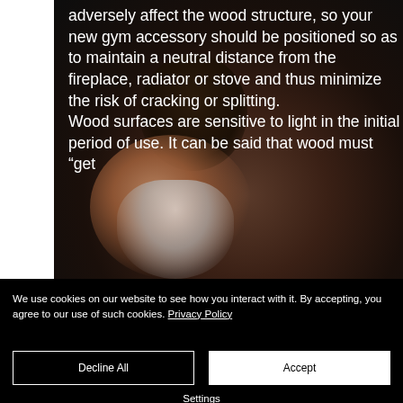[Figure (photo): Dark background photo of a person (woman with dark hair pulled back, wearing white tank top) with a white strip on the left side. Text overlaid in white on the dark background.]
adversely affect the wood structure, so your new gym accessory should be positioned so as to maintain a neutral distance from the fireplace, radiator or stove and thus minimize the risk of cracking or splitting. Wood surfaces are sensitive to light in the initial period of use. It can be said that wood must “get
We use cookies on our website to see how you interact with it. By accepting, you agree to our use of such cookies. Privacy Policy
Decline All
Accept
Settings